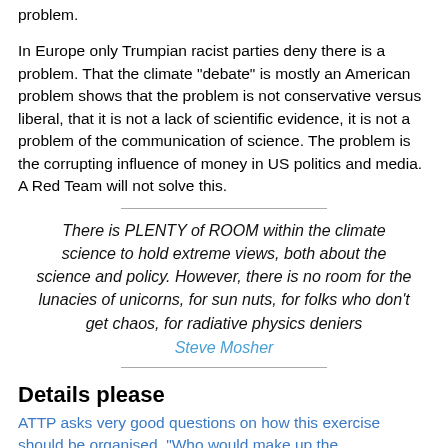problem.
In Europe only Trumpian racist parties deny there is a problem. That the climate "debate" is mostly an American problem shows that the problem is not conservative versus liberal, that it is not a lack of scientific evidence, it is not a problem of the communication of science. The problem is the corrupting influence of money in US politics and media. A Red Team will not solve this.
There is PLENTY of ROOM within the climate science to hold extreme views, both about the science and policy. However, there is no room for the lunacies of unicorns, for sun nuts, for folks who don't get chaos, for radiative physics deniers
Steve Mosher
Details please
ATTP asks very good questions on how this exercise should be organised. "Who would make up the team/teams?" Who